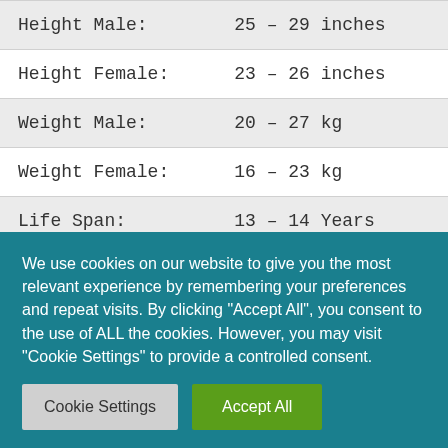| Height Male: | 25 – 29 inches |
| Height Female: | 23 – 26 inches |
| Weight Male: | 20 – 27 kg |
| Weight Female: | 16 – 23 kg |
| Life Span: | 13 – 14 Years |
| Litter Size: | 6 to 9 |
| Si… | … |
We use cookies on our website to give you the most relevant experience by remembering your preferences and repeat visits. By clicking "Accept All", you consent to the use of ALL the cookies. However, you may visit "Cookie Settings" to provide a controlled consent.